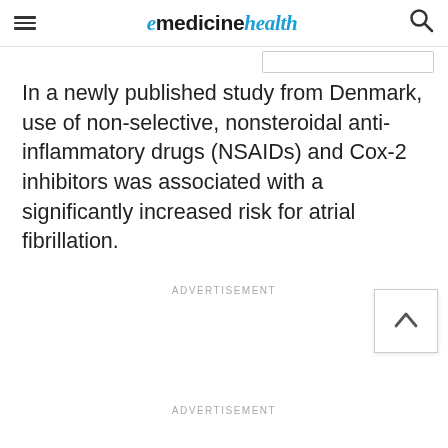emedicinehealth
In a newly published study from Denmark, use of non-selective, nonsteroidal anti-inflammatory drugs (NSAIDs) and Cox-2 inhibitors was associated with a significantly increased risk for atrial fibrillation.
ADVERTISEMENT
ADVERTISEMENT